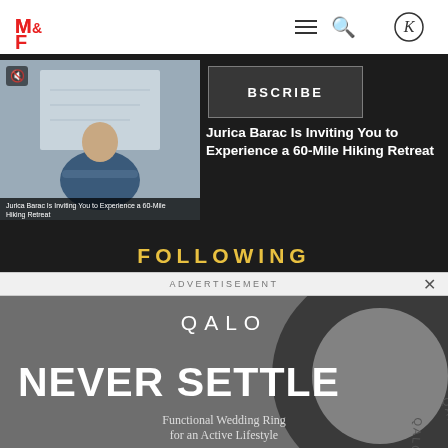[Figure (logo): M&F (Muscle & Fitness) logo in red]
[Figure (screenshot): Navigation bar with hamburger menu and search icon]
[Figure (photo): Video thumbnail of Jurica Barac standing with arms crossed in front of a whiteboard; mute icon visible top-left; white caption text at bottom]
Jurica Barac Is Inviting You to Experience a 60-Mile Hiking Retreat
BSCRIBE
Jurica Barac Is Inviting You to Experience a 60-Mile Hiking Retreat
FOLLOWING
ADVERTISEMENT
[Figure (photo): QALO advertisement showing a dark silicone wedding ring on a grey background with text NEVER SETTLE and tagline Functional Wedding Ring for an Active Lifestyle]
QALO
NEVER SETTLE
Functional Wedding Ring
for an Active Lifestyle